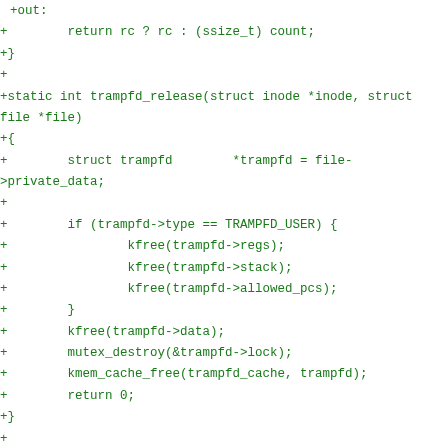+out:
+        return rc ? rc : (ssize_t) count;
+}
+
+static int trampfd_release(struct inode *inode, struct file *file)
+{
+        struct trampfd        *trampfd = file->private_data;
+
+        if (trampfd->type == TRAMPFD_USER) {
+                kfree(trampfd->regs);
+                kfree(trampfd->stack);
+                kfree(trampfd->allowed_pcs);
+        }
+        kfree(trampfd->data);
+        mutex_destroy(&trampfd->lock);
+        kmem_cache_free(trampfd_cache, trampfd);
+        return 0;
+}
+
+const struct file_operations trampfd_fops = {
+#ifdef CONFIG_PROC_FS
+        .show_fdinfo              = trampfd_show_fdinfo,
+#endif
+        .llseek                   = trampfd_llseek,
+        .read                     = trampfd_read,
+        .write                    = trampfd_write,
+        .release                  = trampfd_release,
+        .mmap                     = trampfd_mmap,